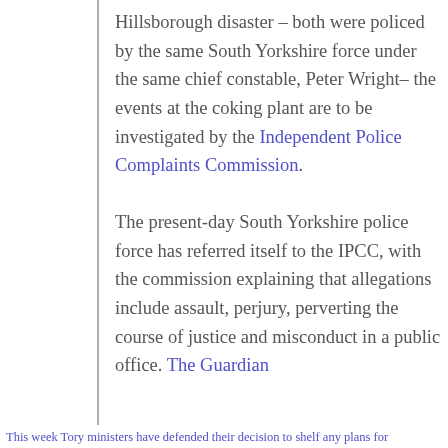Hillsborough disaster – both were policed by the same South Yorkshire force under the same chief constable, Peter Wright– the events at the coking plant are to be investigated by the Independent Police Complaints Commission.
The present-day South Yorkshire police force has referred itself to the IPCC, with the commission explaining that allegations include assault, perjury, perverting the course of justice and misconduct in a public office. The Guardian
This week Tory ministers have defended their decision to shelf any plans for